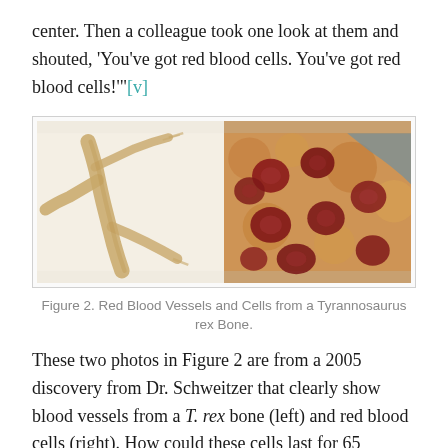center. Then a colleague took one look at them and shouted, 'You've got red blood cells. You've got red blood cells!'"[v]
[Figure (photo): Two side-by-side microscope photos: left shows a blood vessel from a T. rex bone (branching tube-like structure, pale/cream colored against white background); right shows red blood cells (dark red circular cells on an orange/yellow background) from a T. rex bone.]
Figure 2. Red Blood Vessels and Cells from a Tyrannosaurus rex Bone.
These two photos in Figure 2 are from a 2005 discovery from Dr. Schweitzer that clearly show blood vessels from a T. rex bone (left) and red blood cells (right). How could these cells last for 65 million years? At least five peer-